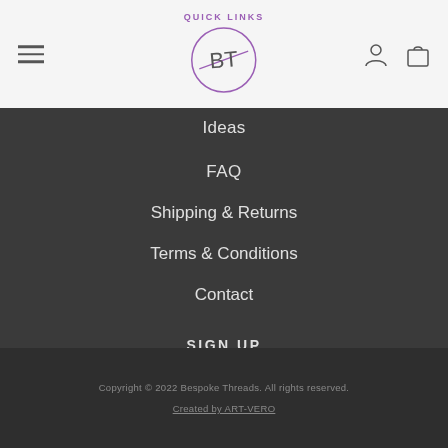QUICK LINKS header with BT logo, hamburger menu, user and bag icons
Ideas
FAQ
Shipping & Returns
Terms & Conditions
Contact
SIGN UP
Email input and Sign Up button
[Figure (other): Facebook and Instagram social media icons in purple circles]
Copyright © 2022 Bespoke Threads. All rights reserved. Created by ART-VERO